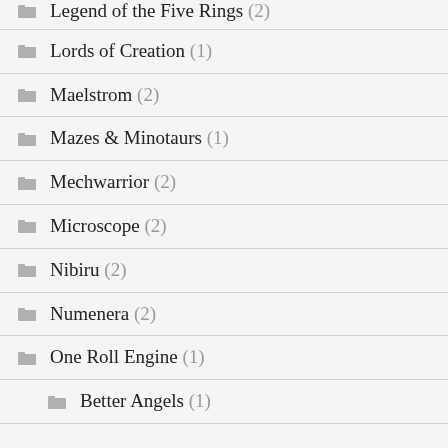Legend of the Five Rings (2)
Lords of Creation (1)
Maelstrom (2)
Mazes & Minotaurs (1)
Mechwarrior (2)
Microscope (2)
Nibiru (2)
Numenera (2)
One Roll Engine (1)
Better Angels (1)